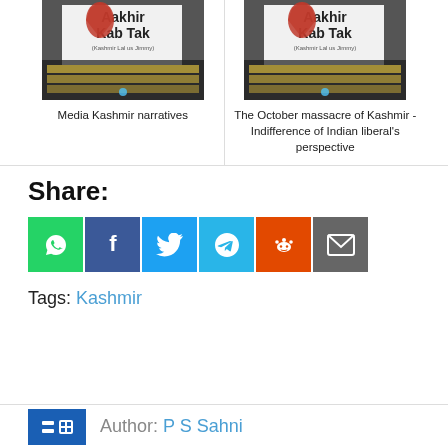[Figure (photo): Photo of candlelight vigil with 'Aakhir Kab Tak' banner (two images side by side). Left: Media Kashmir narratives. Right: The October massacre of Kashmir -Indifference of Indian liberal's perspective]
Media Kashmir narratives
The October massacre of Kashmir -Indifference of Indian liberal's perspective
Share:
[Figure (infographic): Share buttons: WhatsApp (green), Facebook (dark blue), Twitter (light blue), Telegram (sky blue), Reddit (orange), Email (grey)]
Tags: Kashmir
Author: P S Sahni